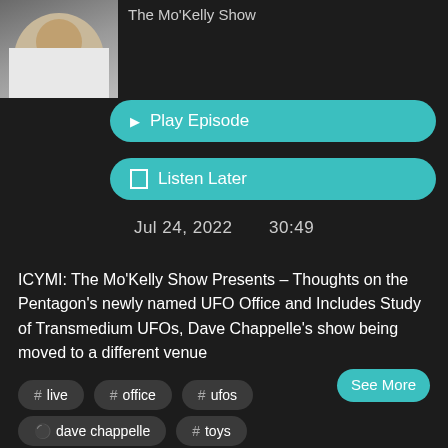[Figure (photo): Thumbnail photo of a man in a white jacket]
The Mo'Kelly Show
▶ Play Episode
☐ Listen Later
Jul 24, 2022    30:49
ICYMI: The Mo'Kelly Show Presents – Thoughts on the Pentagon's newly named UFO Office and Includes Study of Transmedium UFOs, Dave Chappelle's show being moved to a different venue
See More
# live
# office
# ufos
dave chappelle
# toys